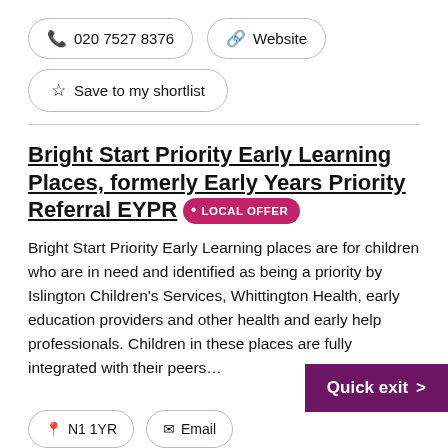📞 020 7527 8376
🔗 Website
☆ Save to my shortlist
Bright Start Priority Early Learning Places, formerly Early Years Priority Referral EYPR • LOCAL OFFER
Bright Start Priority Early Learning places are for children who are in need and identified as being a priority by Islington Children's Services, Whittington Health, early education providers and other health and early help professionals. Children in these places are fully integrated with their peers...
N1 1YR
Email